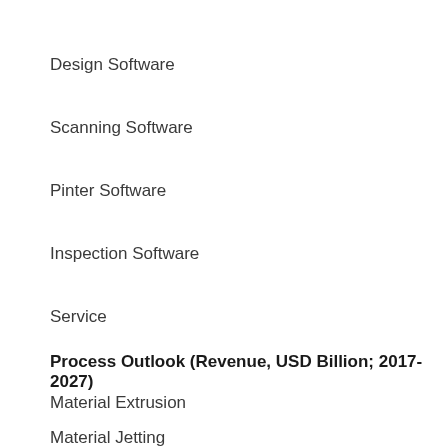Design Software
Scanning Software
Pinter Software
Inspection Software
Service
Process Outlook (Revenue, USD Billion; 2017-2027)
Material Extrusion
Material Jetting